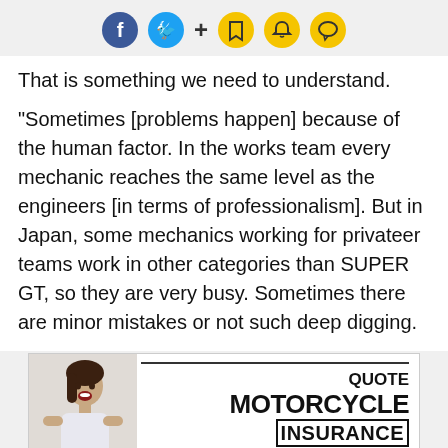Social media icons: Facebook, Twitter, plus, bookmark, bell, chat
That is something we need to understand.
"Sometimes [problems happen] because of the human factor. In the works team every mechanic reaches the same level as the engineers [in terms of professionalism]. But in Japan, some mechanics working for privateer teams work in other categories than SUPER GT, so they are very busy. Sometimes there are minor mistakes or not such deep digging.
[Figure (illustration): Motorcycle insurance advertisement showing a woman and text: QUOTE MOTORCYCLE INSURANCE IN AS LITTLE]